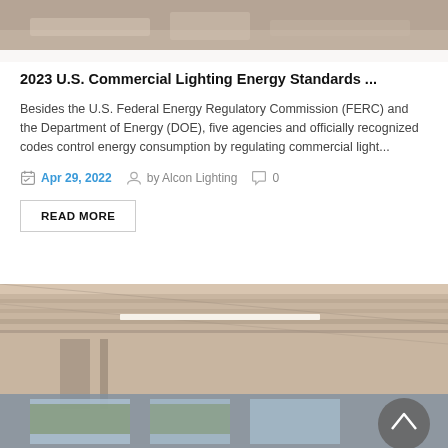FILTER & SORT >
[Figure (photo): Top portion of an article thumbnail image showing a desk or table surface with items, cropped at top of page]
2023 U.S. Commercial Lighting Energy Standards ...
Besides the U.S. Federal Energy Regulatory Commission (FERC) and the Department of Energy (DOE), five agencies and officially recognized codes control energy consumption by regulating commercial light...
Apr 29, 2022   by Alcon Lighting   0
READ MORE
[Figure (photo): Interior photo showing exposed ceiling with structural beams, ductwork, and linear lighting fixtures in a commercial space with windows visible in background]